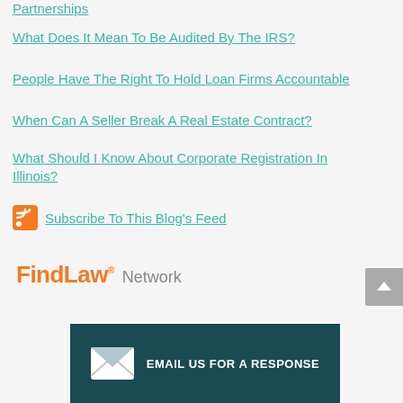Partnerships
What Does It Mean To Be Audited By The IRS?
People Have The Right To Hold Loan Firms Accountable
When Can A Seller Break A Real Estate Contract?
What Should I Know About Corporate Registration In Illinois?
Subscribe To This Blog's Feed
[Figure (logo): FindLaw Network logo with orange FindLaw text and gray Network text]
[Figure (infographic): Dark teal banner with white envelope icon and text EMAIL US FOR A RESPONSE]